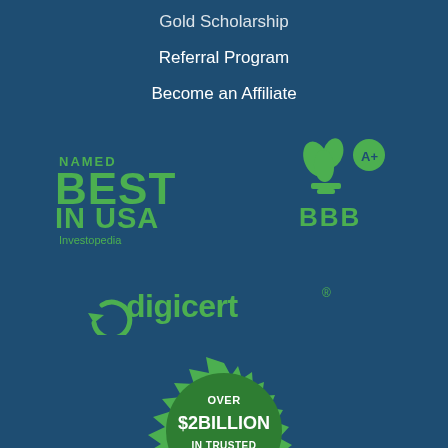Gold Scholarship
Referral Program
Become an Affiliate
[Figure (logo): Named Best in USA - Investopedia badge in green text on dark blue background]
[Figure (logo): BBB A+ rating logo in green on dark blue background]
[Figure (logo): DigiCert logo in green on dark blue background]
[Figure (logo): Seal badge reading OVER $2 BILLION IN TRUSTED TRANSACTIONS with stars, green on dark blue]